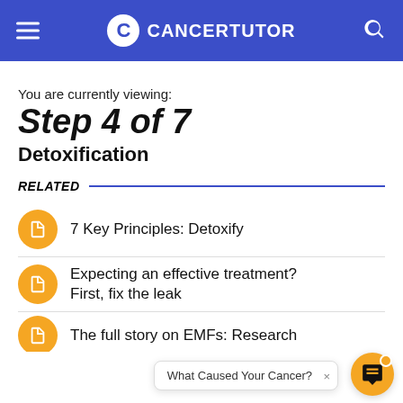CANCERTUTOR
You are currently viewing:
Step 4 of 7
Detoxification
RELATED
7 Key Principles: Detoxify
Expecting an effective treatment? First, fix the leak
The full story on EMFs: Research